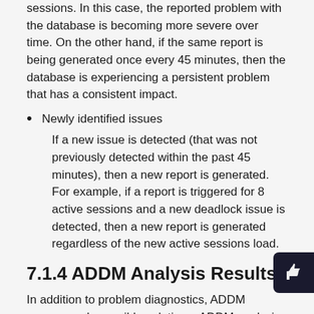sessions. In this case, the reported problem with the database is becoming more severe over time. On the other hand, if the same report is being generated once every 45 minutes, then the database is experiencing a persistent problem that has a consistent impact.
Newly identified issues
If a new issue is detected (that was not previously detected within the past 45 minutes), then a new report is generated. For example, if a report is triggered for 8 active sessions and a new deadlock issue is detected, then a new report is generated regardless of the new active sessions load.
7.1.4 ADDM Analysis Results
In addition to problem diagnostics, ADDM recommends possible solutions. ADDM analysis results are represented as a set of findings. See Example 7-1 for an example of an ADDM analysis result. Each ADDM